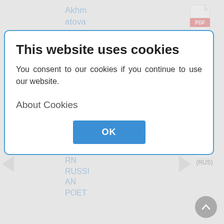Akhmatova and her works
[Figure (other): PDF icon with label (RUS) in top right area]
in
22.
Zinurova E.S.
TEXT
Y IN THE MODERN RUSSIAN POET
(2017)
[Figure (other): PDF icon with label (RUS) in bottom right area]
RN RUSSIAN POET
This website uses cookies
You consent to our cookies if you continue to use our website.
About Cookies
OK